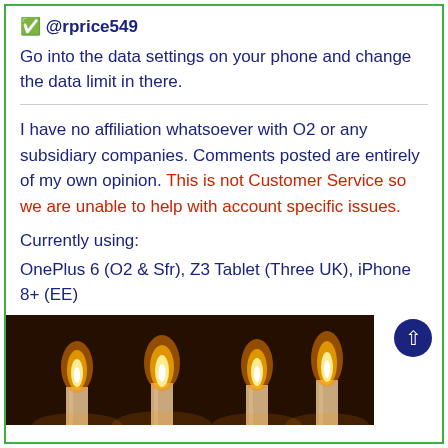✅ @rprice549
Go into the data settings on your phone and change the data limit in there.
I have no affiliation whatsoever with O2 or any subsidiary companies. Comments posted are entirely of my own opinion. This is not Customer Service so we are unable to help with account specific issues.
Currently using:
OnePlus 6 (O2 & Sfr), Z3 Tablet (Three UK), iPhone 8+ (EE)
[Figure (photo): Photo of several candles burning with warm golden flames against a dark background]